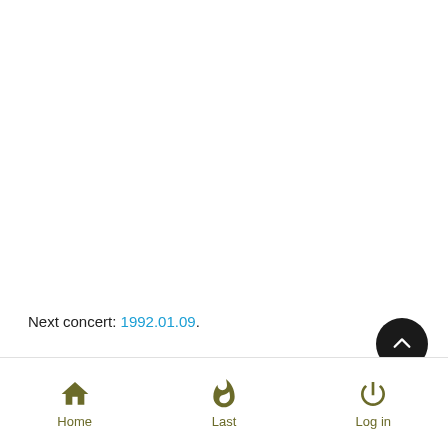Next concert: 1992.01.09.
[Figure (other): Scroll-to-top circular button with upward chevron arrow, dark background]
Home | Last | Log in